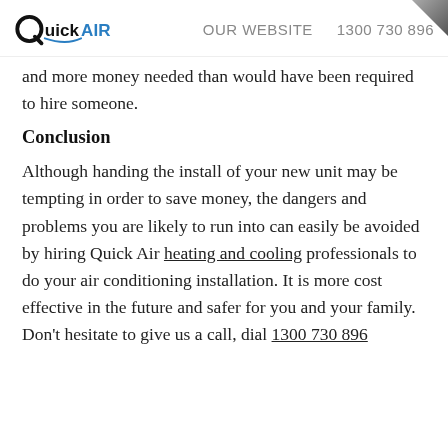QuickAIR   OUR WEBSITE   1300 730 896
and more money needed than would have been required to hire someone.
Conclusion
Although handing the install of your new unit may be tempting in order to save money, the dangers and problems you are likely to run into can easily be avoided by hiring Quick Air heating and cooling professionals to do your air conditioning installation. It is more cost effective in the future and safer for you and your family.
Don't hesitate to give us a call, dial 1300 730 896